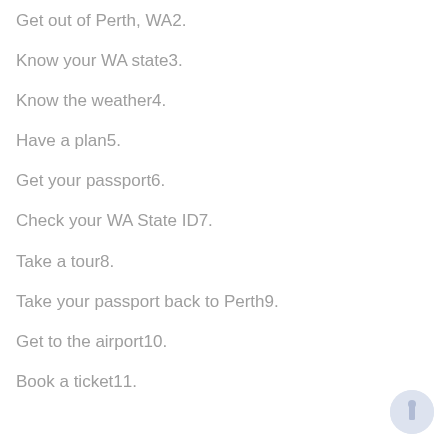Get out of Perth, WA2.
Know your WA state3.
Know the weather4.
Have a plan5.
Get your passport6.
Check your WA State ID7.
Take a tour8.
Take your passport back to Perth9.
Get to the airport10.
Book a ticket11.